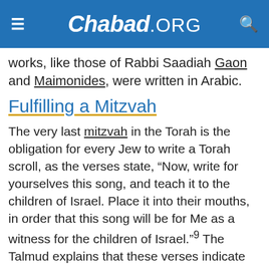Chabad.ORG
works, like those of Rabbi Saadiah Gaon and Maimonides, were written in Arabic.
Fulfilling a Mitzvah
The very last mitzvah in the Torah is the obligation for every Jew to write a Torah scroll, as the verses state, “Now, write for yourselves this song, and teach it to the children of Israel. Place it into their mouths, in order that this song will be for Me as a witness for the children of Israel.”⁹ The Talmud explains that these verses indicate an obligation for every person to write the whole Torah. (For more on how one fulfills that mitzvah nowadays, see here).